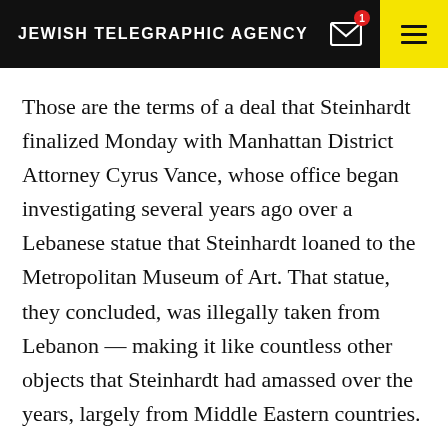JEWISH TELEGRAPHIC AGENCY
Those are the terms of a deal that Steinhardt finalized Monday with Manhattan District Attorney Cyrus Vance, whose office began investigating several years ago over a Lebanese statue that Steinhardt loaned to the Metropolitan Museum of Art. That statue, they concluded, was illegally taken from Lebanon — making it like countless other objects that Steinhardt had amassed over the years, largely from Middle Eastern countries.
Steinhardt's lawyers and Manhattan District Attorney Cyrus Vance issued separate statements Monday,